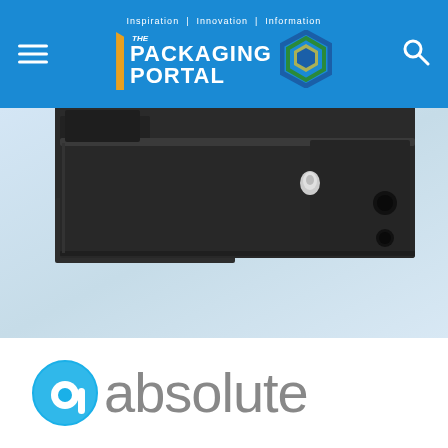Inspiration | Innovation | Information — THE PACKAGING PORTAL
[Figure (photo): Close-up photo of a dark industrial mechanical device/component, likely a packaging machine part, against a light blue/white gradient background. Below the device is the Absolute company logo.]
[Figure (logo): Absolute company logo: cyan/blue circular 'a' icon followed by the word 'absolute' in gray text]